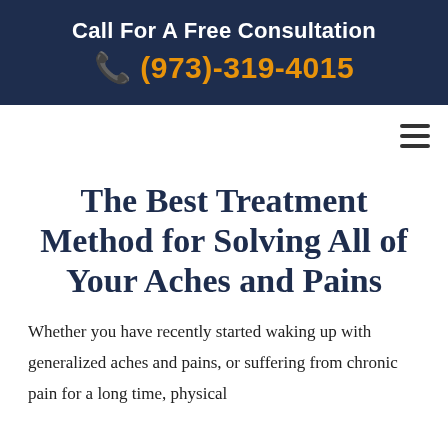Call For A Free Consultation
(973)-319-4015
The Best Treatment Method for Solving All of Your Aches and Pains
Whether you have recently started waking up with generalized aches and pains, or suffering from chronic pain for a long time, physical